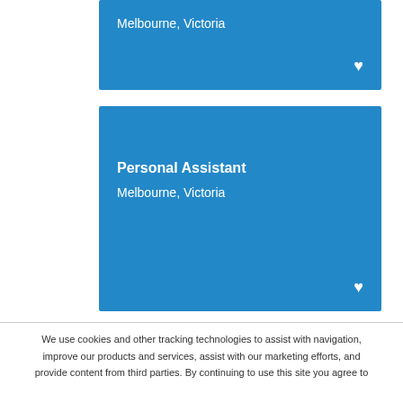[Figure (screenshot): Blue job listing card showing location: Melbourne, Victoria with a white heart icon]
[Figure (screenshot): Blue job listing card showing title: Personal Assistant, location: Melbourne, Victoria with a white heart icon]
We use cookies and other tracking technologies to assist with navigation, improve our products and services, assist with our marketing efforts, and provide content from third parties. By continuing to use this site you agree to